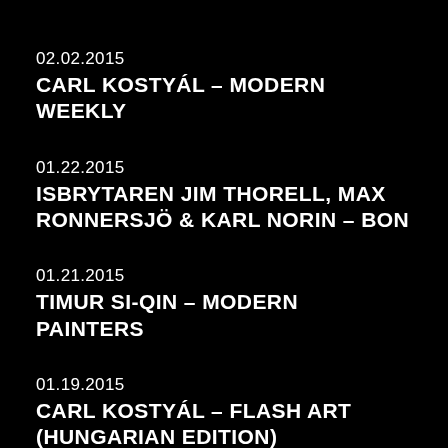02.02.2015
CARL KOSTYÁL – MODERN WEEKLY
01.22.2015
ISBRYTAREN JIM THORELL, MAX RONNERSJÖ & KARL NORIN – BON
01.21.2015
TIMUR SI-QIN – MODERN PAINTERS
01.19.2015
CARL KOSTYÁL – FLASH ART (HUNGARIAN EDITION)